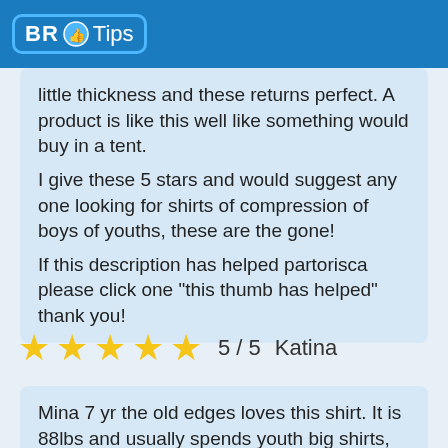BR Tips
little thickness and these returns perfect. A product is like this well like something would buy in a tent. I give these 5 stars and would suggest any one looking for shirts of compression of boys of youths, these are the gone! If this description has helped partorisca please click one “this thumb has helped” thank you!
5 / 5   Katina
Mina 7 yr the old edges loves this shirt. It is 88lbs and usually spends youth big shirts, has ordered the big and returns perfectly. Some closure are